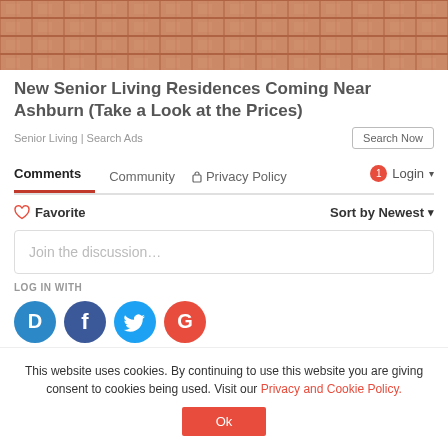[Figure (photo): Brick/tile pattern photo at top of page]
New Senior Living Residences Coming Near Ashburn (Take a Look at the Prices)
Senior Living | Search Ads
Search Now
Comments  Community  🔒 Privacy Policy  1 Login
♡ Favorite   Sort by Newest
Join the discussion…
LOG IN WITH
[Figure (infographic): Social login icons: Disqus (D), Facebook (f), Twitter bird, Google (G)]
This website uses cookies. By continuing to use this website you are giving consent to cookies being used. Visit our Privacy and Cookie Policy.
Ok